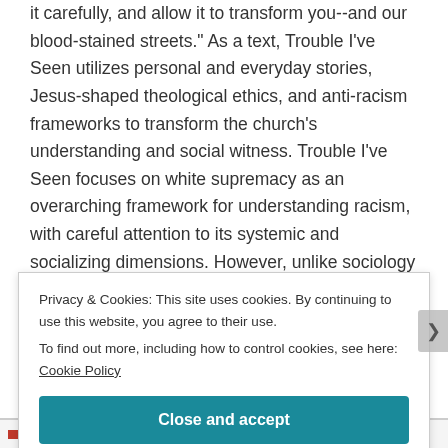it carefully, and allow it to transform you--and our blood-stained streets." As a text, Trouble I've Seen utilizes personal and everyday stories, Jesus-shaped theological ethics, and anti-racism frameworks to transform the church's understanding and social witness. Trouble I've Seen focuses on white supremacy as an overarching framework for understanding racism, with careful attention to its systemic and socializing dimensions. However, unlike sociology textbooks on the subject Dr. Hart also considers the subversive vocation of Jesus and the nonviolent yet revolutionary
Privacy & Cookies: This site uses cookies. By continuing to use this website, you agree to their use.
To find out more, including how to control cookies, see here: Cookie Policy
Close and accept